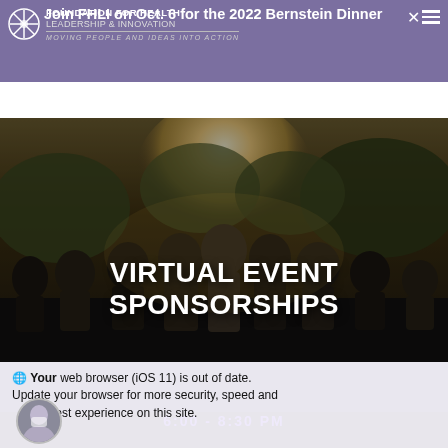FOUNDATION FOR HEALTH LEADERSHIP & INNOVATION | MOVING PEOPLE AND IDEAS INTO ACTION
Join FHLI on Oct. 6 for the 2022 Bernstein Dinner
[Figure (photo): Group of people standing together outdoors in warm sunlight with trees in background, overlaid with bold white text reading VIRTUAL EVENT SPONSORSHIPS]
VIRTUAL EVENT SPONSORSHIPS
Your web browser (iOS 11) is out of date. Update your browser for more security, speed and the best experience on this site.
22 OCT. 2021
6:00 - 8:30 PM